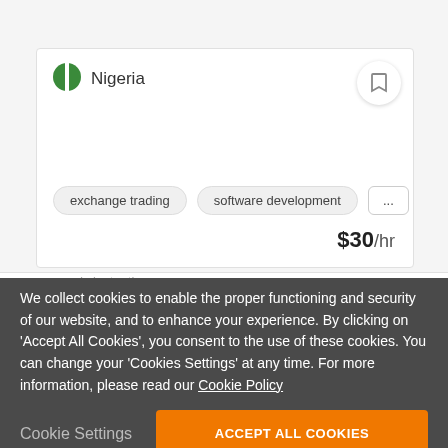[Figure (screenshot): Nigeria flag icon — green and white circle halves]
Nigeria
[Figure (other): Bookmark icon button]
exchange trading
software development
...
$30/hr
responds instantly
We collect cookies to enable the proper functioning and security of our website, and to enhance your experience. By clicking on 'Accept All Cookies', you consent to the use of these cookies. You can change your 'Cookies Settings' at any time. For more information, please read our Cookie Policy
Cookie Settings
ACCEPT ALL COOKIES